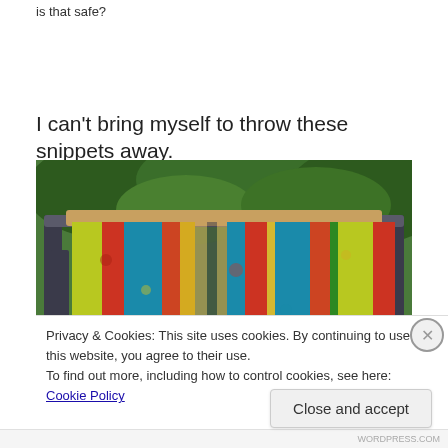is that safe?
I can't bring myself to throw these snippets away.
[Figure (photo): A colorful knitted or crocheted blanket/throw draped over a dark metal chair outdoors, with green foliage in the background. The textile features vertical stripes in teal, red, green, and yellow.]
Privacy & Cookies: This site uses cookies. By continuing to use this website, you agree to their use.
To find out more, including how to control cookies, see here: Cookie Policy
Close and accept